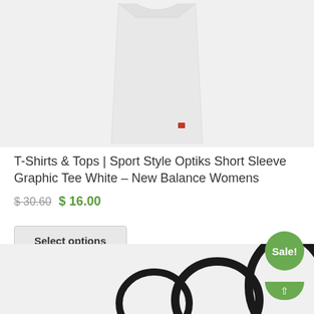[Figure (photo): White New Balance women's short sleeve graphic tee shirt displayed on light grey background, cropped to show the body of the shirt]
T-Shirts & Tops | Sport Style Optiks Short Sleeve Graphic Tee White – New Balance Womens
$ 30.60  $ 16.00
Select options
[Figure (photo): Bottom portion of another product listing showing partial image on grey background with a green Sale! badge in the bottom right corner]